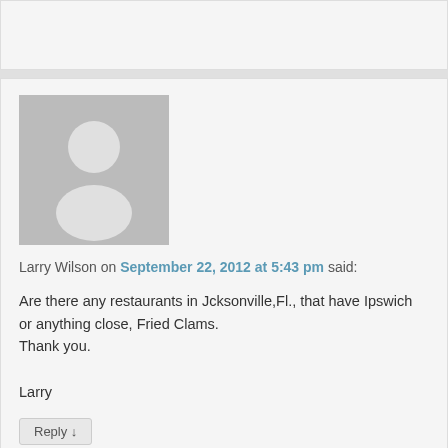Larry Wilson on September 22, 2012 at 5:43 pm said:
Are there any restaurants in Jcksonville,Fl., that have Ipswich or anything close, Fried Clams.
Thank you.

Larry
Reply ↓
B Wick on October 6, 2012 at 2:20 pm said:
A la carte, Jacksonville Beach, FL, 904-241-2005. Very good! Call